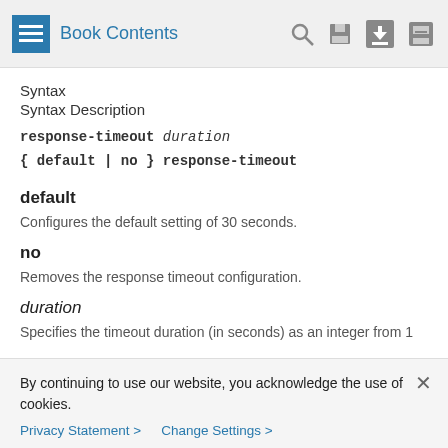Book Contents
Syntax
Syntax Description
default
Configures the default setting of 30 seconds.
no
Removes the response timeout configuration.
duration
Specifies the timeout duration (in seconds) as an integer from 1
By continuing to use our website, you acknowledge the use of cookies.
Privacy Statement > Change Settings >